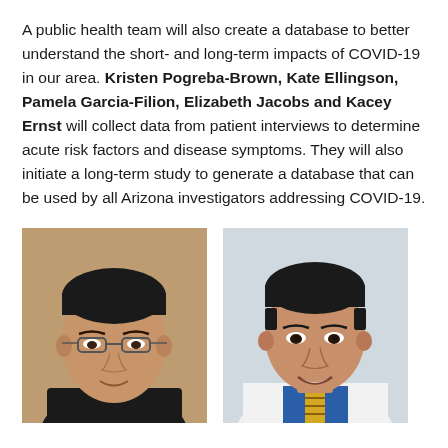A public health team will also create a database to better understand the short- and long-term impacts of COVID-19 in our area. Kristen Pogreba-Brown, Kate Ellingson, Pamela Garcia-Filion, Elizabeth Jacobs and Kacey Ernst will collect data from patient interviews to determine acute risk factors and disease symptoms. They will also initiate a long-term study to generate a database that can be used by all Arizona investigators addressing COVID-19.
[Figure (photo): Headshot of a man with glasses and dark hair wearing a black shirt, against a brown/tan background]
[Figure (photo): Headshot of a man with dark hair wearing a white medical coat, blue shirt, and striped tie, smiling]